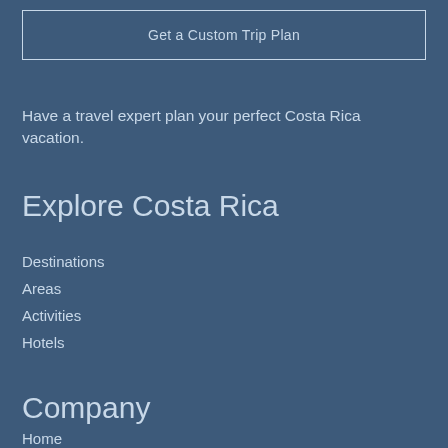Get a Custom Trip Plan
Have a travel expert plan your perfect Costa Rica vacation.
Explore Costa Rica
Destinations
Areas
Activities
Hotels
Company
Home